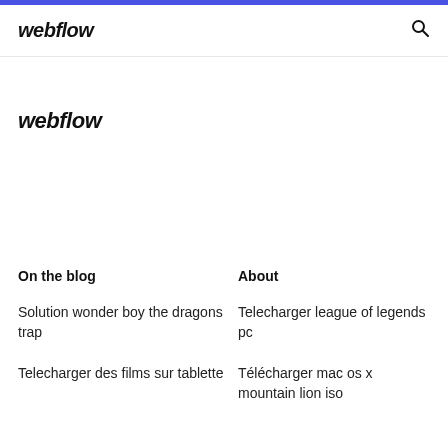webflow
webflow
On the blog
About
Solution wonder boy the dragons trap
Telecharger league of legends pc
Telecharger des films sur tablette
Télécharger mac os x mountain lion iso